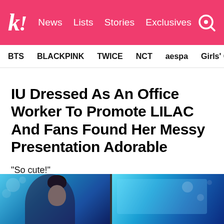k! News Lists Stories Exclusives
BTS   BLACKPINK   TWICE   NCT   aespa   Girls' Generation
IU Dressed As An Office Worker To Promote LILAC And Fans Found Her Messy Presentation Adorable
“So cute!”
[Figure (photo): Two side-by-side photos of IU at an event promoting LILAC, with blue background displays]